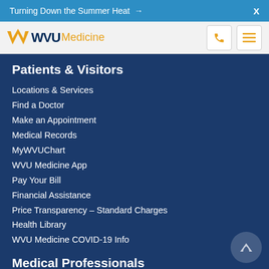Turning Down the Summer Heat →   X
[Figure (logo): WVU Medicine logo with flying WV in gold and navy, phone and hamburger menu icons]
Patients & Visitors
Locations & Services
Find a Doctor
Make an Appointment
Medical Records
MyWVUChart
WVU Medicine App
Pay Your Bill
Financial Assistance
Price Transparency – Standard Charges
Health Library
WVU Medicine COVID-19 Info
Medical Professionals
Refer a Patient
Provider Portal
Transplant Services
Specialists Directory